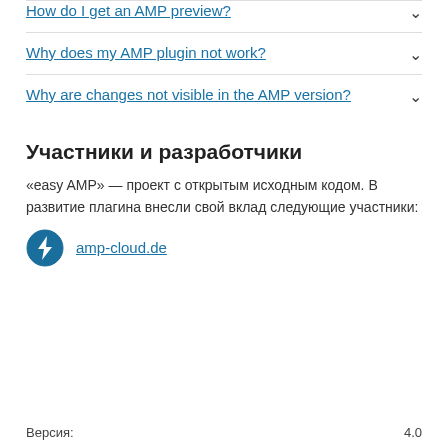How do I get an AMP preview?
Why does my AMP plugin not work?
Why are changes not visible in the AMP version?
Участники и разработчики
«easy AMP» — проект с открытым исходным кодом. В развитие плагина внесли свой вклад следующие участники:
amp-cloud.de
Версия:    4.0